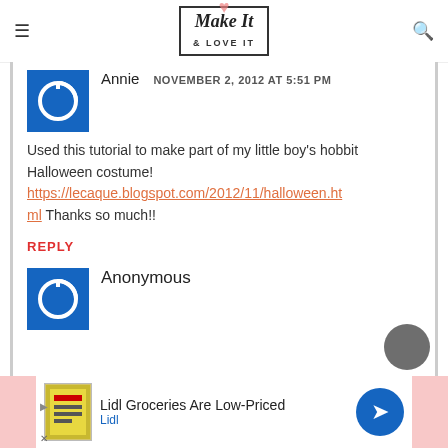Make It & LOVE IT
[Figure (other): User avatar blue square with power/circle icon for Annie]
Annie   NOVEMBER 2, 2012 AT 5:51 PM
Used this tutorial to make part of my little boy's hobbit Halloween costume! https://lecaque.blogspot.com/2012/11/halloween.html Thanks so much!!
REPLY
[Figure (other): User avatar blue square with power/circle icon for Anonymous]
Anonymous
[Figure (other): Advertisement banner: Lidl Groceries Are Low-Priced - Lidl]